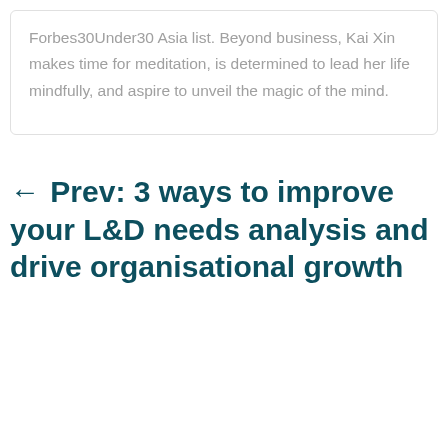Forbes30Under30 Asia list. Beyond business, Kai Xin makes time for meditation, is determined to lead her life mindfully, and aspire to unveil the magic of the mind.
← Prev: 3 ways to improve your L&D needs analysis and drive organisational growth